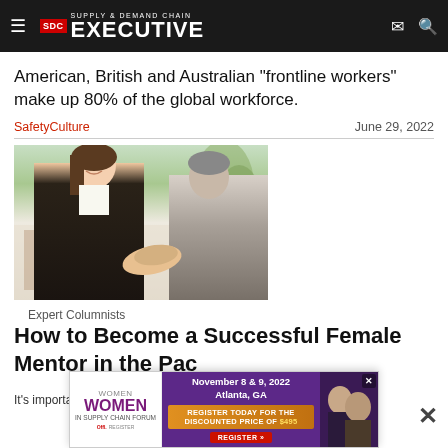Supply & Demand Chain Executive
American, British and Australian "frontline workers" make up 80% of the global workforce.
SafetyCulture · June 29, 2022
[Figure (photo): Two business professionals shaking hands across a desk, smiling]
Expert Columnists
How to Become a Successful Female Mentor in the Pac...
It's important to find opportunities that help other women advance...
[Figure (infographic): Advertisement for Women in Supply Chain Forum, November 8 & 9, 2022, Atlanta, GA. Register today for the discounted price of $495.]